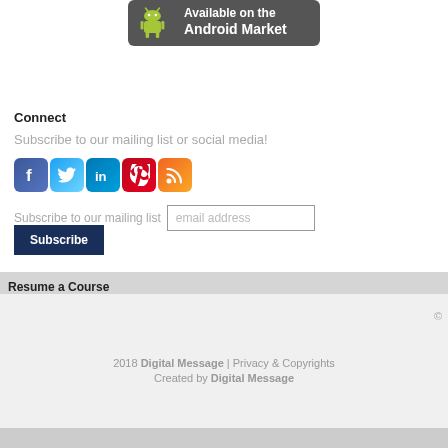[Figure (logo): Android Market badge with green Android robot icon and text 'Available on the Android Market' on dark grey background]
Connect
Subscribe to our mailing list or social media!
[Figure (infographic): Row of five social media icons: Facebook (blue), Twitter (light blue), LinkedIn (blue), Pinterest (red), RSS feed (orange)]
Subscribe to our mailing list [email address input field] [Subscribe button]
Resume a Course
2018 Digital Message | Privacy & Copyrights
Created by Digital Message